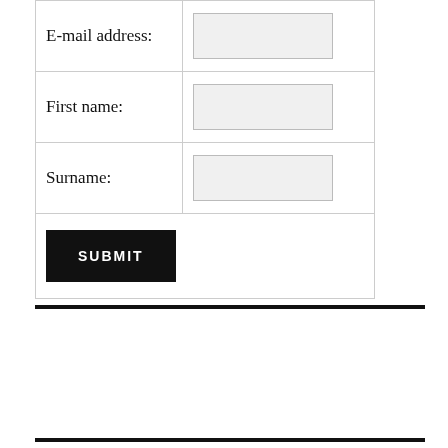[Figure (screenshot): A web form with fields for E-mail address, First name, and Surname, each with a light grey input box. Below the fields is a black SUBMIT button. Below the form are two thick horizontal black divider lines.]